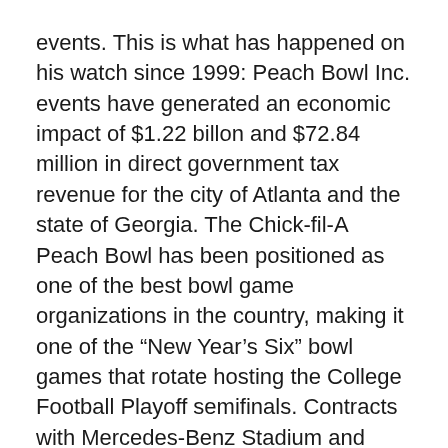events. This is what has happened on his watch since 1999: Peach Bowl Inc. events have generated an economic impact of $1.22 billon and $72.84 million in direct government tax revenue for the city of Atlanta and the state of Georgia. The Chick-fil-A Peach Bowl has been positioned as one of the best bowl game organizations in the country, making it one of the “New Year’s Six” bowl games that rotate hosting the College Football Playoff semifinals. Contracts with Mercedes-Benz Stadium and Chick-fil-A run through 2025, with Chick-fil-A continuing to sponsor both the bowl and the Kickoff Game.
The Chick-fil-A Peach Bowl has achieved sellouts in 22 of the past 24 years and has distributed $251.3 million in payouts to the participating teams. The organization has also donated a record $57.9 million